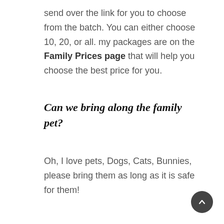send over the link for you to choose from the batch. You can either choose 10, 20, or all. my packages are on the Family Prices page that will help you choose the best price for you.
Can we bring along the family pet?
Oh, I love pets, Dogs, Cats, Bunnies, please bring them as long as it is safe for them!